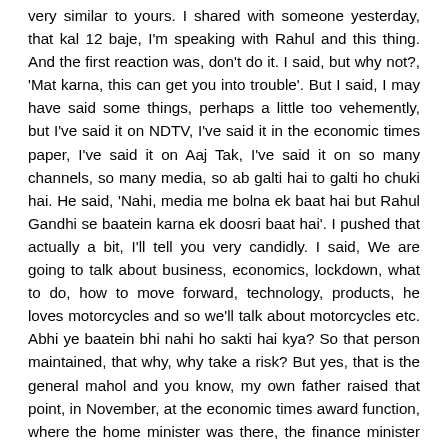very similar to yours. I shared with someone yesterday, that kal 12 baje, I'm speaking with Rahul and this thing. And the first reaction was, don't do it. I said, but why not?, 'Mat karna, this can get you into trouble'. But I said, I may have said some things, perhaps a little too vehemently, but I've said it on NDTV, I've said it in the economic times paper, I've said it on Aaj Tak, I've said it on so many channels, so many media, so ab galti hai to galti ho chuki hai. He said, 'Nahi, media me bolna ek baat hai but Rahul Gandhi se baatein karna ek doosri baat hai'. I pushed that actually a bit, I'll tell you very candidly. I said, We are going to talk about business, economics, lockdown, what to do, how to move forward, technology, products, he loves motorcycles and so we'll talk about motorcycles etc. Abhi ye baatein bhi nahi ho sakti hai kya? So that person maintained, that why, why take a risk? But yes, that is the general mahol and you know, my own father raised that point, in November, at the economic times award function, where the home minister was there, the finance minister was there. So, you know, one hears a lot about this, but I try to ask people why this should be so because at least so far I have not faced any repercussion, so to speak, of this. But yes, what you say is true, this seems to be the general impression, which is sad